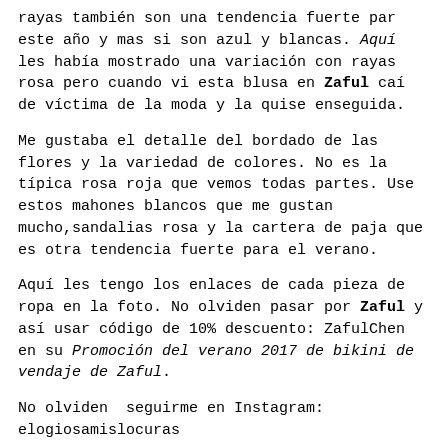rayas también son una tendencia fuerte par este año y mas si son azul y blancas. Aquí les había mostrado una variación con rayas rosa pero cuando vi esta blusa en Zaful caí de víctima de la moda y la quise enseguida.
Me gustaba el detalle del bordado de las flores y la variedad de colores. No es la típica rosa roja que vemos todas partes. Use estos mahones blancos que me gustan mucho,sandalias rosa y la cartera de paja que es otra tendencia fuerte para el verano.
Aquí les tengo los enlaces de cada pieza de ropa en la foto. No olviden pasar por Zaful y así usar código de 10% descuento: ZafulChen en su Promoción del verano 2017 de bikini de vendaje de Zaful.
No olviden  seguirme en Instagram: elogiosamislocuras